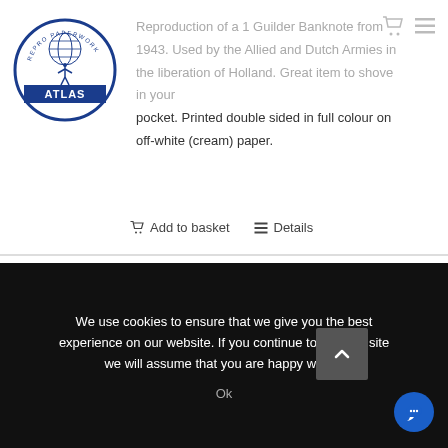[Figure (logo): Atlas Repro Paperwork logo — a figure holding a globe on their shoulders, inside a circle, with 'ATLAS' on a blue banner]
Reproduction of a 1 Guilder Banknote from 1943. Used by the Allied and Dutch Armies in the liberation of Holland. Great item to shove in your pocket. Printed double sided in full colour on off-white (cream) paper.
Add to basket   Details
We use cookies to ensure that we give you the best experience on our website. If you continue to use this site we will assume that you are happy with it.
Ok